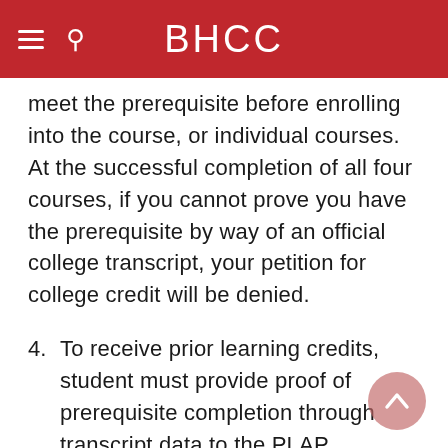BHCC
meet the prerequisite before enrolling into the course, or individual courses. At the successful completion of all four courses, if you cannot prove you have the prerequisite by way of an official college transcript, your petition for college credit will be denied.
4. To receive prior learning credits, student must provide proof of prerequisite completion through transcript data to the PLAP Coordinator.